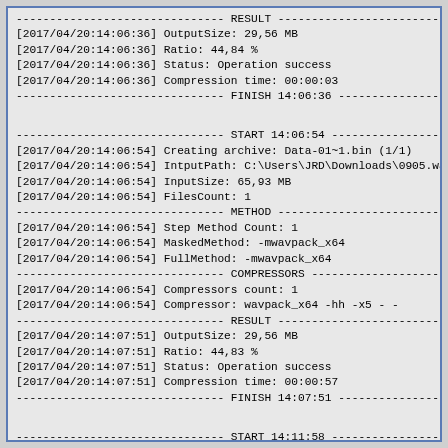------------------------------- RESULT -------------------------------
[2017/04/20:14:06:36] OutputSize: 29,56 MB
[2017/04/20:14:06:36] Ratio: 44,84 %
[2017/04/20:14:06:36] Status: Operation success
[2017/04/20:14:06:36] Compression time: 00:00:03
------------------------------- FINISH 14:06:36 -------------------------------
------------------------------- START 14:06:54 -------------------------------
[2017/04/20:14:06:54] Creating archive: Data-01~1.bin (1/1)
[2017/04/20:14:06:54] IntputPath: C:\Users\JRD\Downloads\0905.wav
[2017/04/20:14:06:54] InputSize: 65,93 MB
[2017/04/20:14:06:54] FilesCount: 1
------------------------------- METHOD -------------------------------
[2017/04/20:14:06:54] Step Method Count: 1
[2017/04/20:14:06:54] MaskedMethod: -mwavpack_x64
[2017/04/20:14:06:54] FullMethod: -mwavpack_x64
------------------------------- COMPRESSORS -------------------------------
[2017/04/20:14:06:54] Compressors count: 1
[2017/04/20:14:06:54] Compressor: wavpack_x64 -hh -x5 - -
------------------------------- RESULT -------------------------------
[2017/04/20:14:07:51] OutputSize: 29,56 MB
[2017/04/20:14:07:51] Ratio: 44,83 %
[2017/04/20:14:07:51] Status: Operation success
[2017/04/20:14:07:51] Compression time: 00:00:57
------------------------------- FINISH 14:07:51 -------------------------------
------------------------------- START 14:11:58 -------------------------------
[2017/04/20:14:11:58] Creating archive: Data-01~2.bin (1/1)
[2017/04/20:14:11:58] IntputPath: C:\Users\JRD\Downloads\0905...